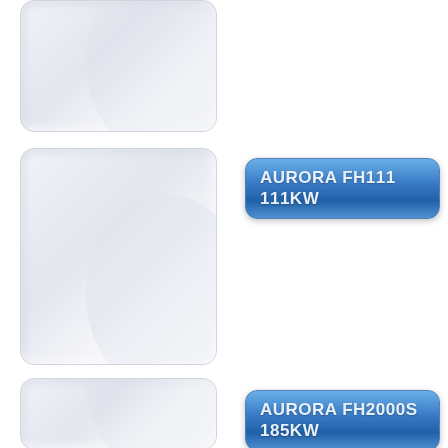[Figure (photo): AURORA product image top - white rounded rectangle device]
[Figure (photo): AURORA FH111 111KW product image - white rounded rectangle device with label badge]
AURORA FH111 111KW
[Figure (photo): AURORA FH2000S 185KW product image - white rounded rectangle device with label badge]
AURORA FH2000S 185KW